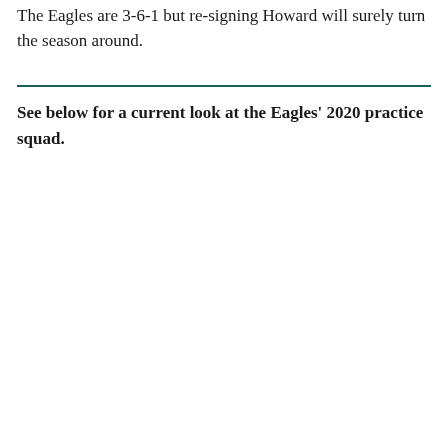The Eagles are 3-6-1 but re-signing Howard will surely turn the season around.
See below for a current look at the Eagles' 2020 practice squad.